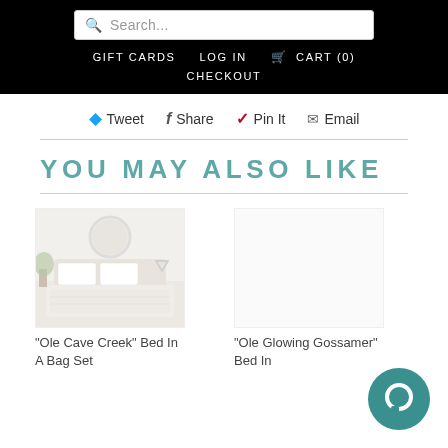Search... | GIFT CARDS  LOG IN  CART (0)  CHECKOUT
Tweet  Share  Pin It  Email
YOU MAY ALSO LIKE
[Figure (photo): Bedroom product photo showing white bedding set – Ole Cave Creek Bed In A Bag Set]
"Ole Cave Creek" Bed In A Bag Set
"Ole Glowing Gossamer" Bed In